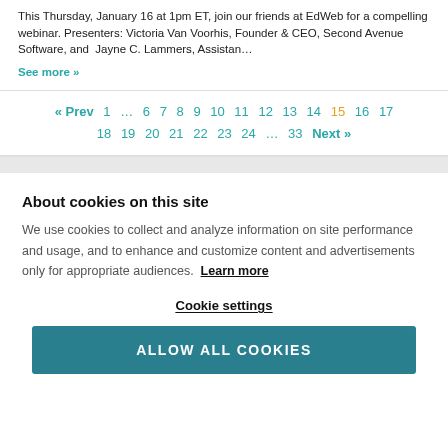This Thursday, January 16 at 1pm ET, join our friends at EdWeb for a compelling webinar. Presenters: Victoria Van Voorhis, Founder & CEO, Second Avenue Software, and Jayne C. Lammers, Assistan…
See more »
« Prev 1 … 6 7 8 9 10 11 12 13 14 15 16 17 18 19 20 21 22 23 24 … 33 Next »
About cookies on this site
We use cookies to collect and analyze information on site performance and usage, and to enhance and customize content and advertisements only for appropriate audiences. Learn more
Cookie settings
ALLOW ALL COOKIES